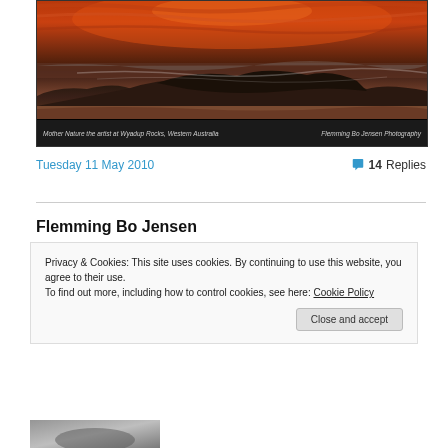[Figure (photo): Dramatic sunset landscape photo of Mother Nature the artist at Wyadup Rocks, Western Australia, with dark rocky coastline, wave mist, and vivid orange-red sky. Caption bar at bottom reads 'Mother Nature the artist at Wyadup Rocks, Western Australia' on left and 'Flemming Bo Jensen Photography' on right.]
Tuesday 11 May 2010
14 Replies
Flemming Bo Jensen
Privacy & Cookies: This site uses cookies. By continuing to use this website, you agree to their use.
To find out more, including how to control cookies, see here: Cookie Policy
Close and accept